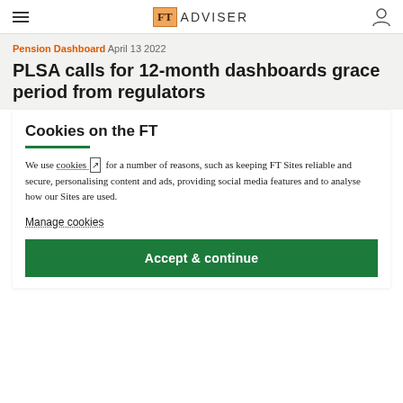FT ADVISER
Pension Dashboard  April 13 2022
PLSA calls for 12-month dashboards grace period from regulators
Cookies on the FT
We use cookies [external link] for a number of reasons, such as keeping FT Sites reliable and secure, personalising content and ads, providing social media features and to analyse how our Sites are used.
Manage cookies
Accept & continue